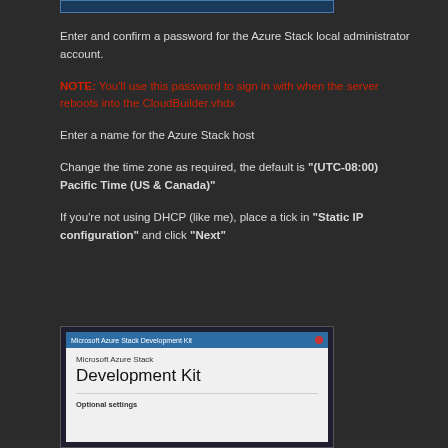[Figure (screenshot): Top portion of a Microsoft Azure Stack Development Kit dialog window]
Enter and confirm a password for the Azure Stack local administrator account.
NOTE: You'll use this password to sign in with when the server reboots into the CloudBuilder.vhdx
Enter a name for the Azure Stack host
Change the time zone as required, the default is "(UTC-08:00) Pacific Time (US & Canada)"
If you're not using DHCP (like me), place a tick in "Static IP configuration" and click "Next"
[Figure (screenshot): Microsoft Azure Stack Development Kit window showing Optional settings section]